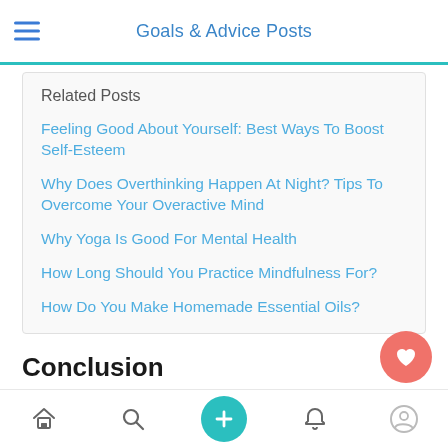Goals & Advice Posts
Related Posts
Feeling Good About Yourself: Best Ways To Boost Self-Esteem
Why Does Overthinking Happen At Night? Tips To Overcome Your Overactive Mind
Why Yoga Is Good For Mental Health
How Long Should You Practice Mindfulness For?
How Do You Make Homemade Essential Oils?
Conclusion